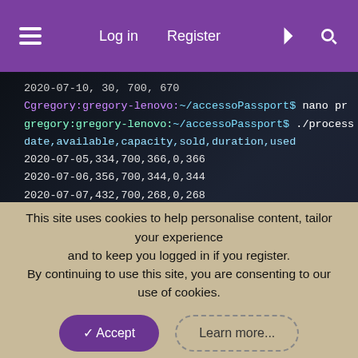≡   Log in   Register   ⚡   🔍
[Figure (screenshot): Terminal/console screenshot showing CSV data output with date, available, capacity, sold, duration, used columns. Lines show dates 2020-07-05 through 2020-07-16 with numeric data. Also shows command prompt lines with gregory:gregory-lenovo:~/accessoPassport$ nano pr and ./process commands.]
This site uses cookies to help personalise content, tailor your experience and to keep you logged in if you register.
By continuing to use this site, you are consenting to our use of cookies.
✓ Accept   Learn more...